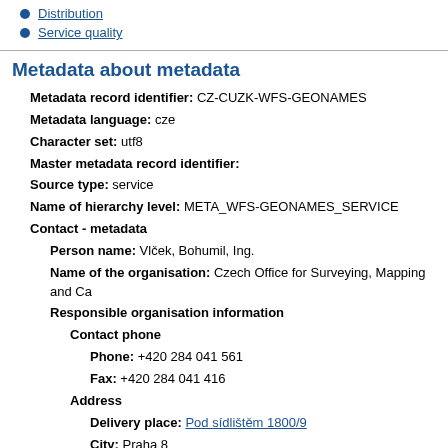Distribution
Service quality
Metadata about metadata
Metadata record identifier: CZ-CUZK-WFS-GEONAMES
Metadata language: cze
Character set: utf8
Master metadata record identifier:
Source type: service
Name of hierarchy level: META_WFS-GEONAMES_SERVICE
Contact - metadata
Person name: Vlček, Bohumil, Ing.
Name of the organisation: Czech Office for Surveying, Mapping and Ca
Responsible organisation information
Contact phone
Phone: +420 284 041 561
Fax: +420 284 041 416
Address
Delivery place: Pod sídlištěm 1800/9
City: Praha 8
ZIP code: 182 11
Country: Czech Republic
E-mail: bohumil.vlcek@cuzk.cz
E-mail: podpora.zums@cuzk.cz